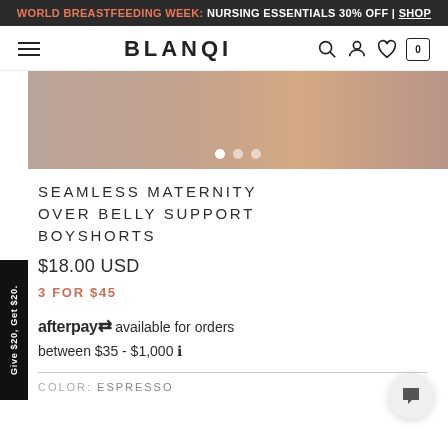WORLD BREASTFEEDING WEEK: NURSING ESSENTIALS 30% OFF | SHOP
BLANQI
[Figure (photo): Product image of maternity boyshorts with image carousel dots (3 dots, first active)]
SEAMLESS MATERNITY OVER BELLY SUPPORT BOYSHORTS
$18.00 USD
3 FOR $45
afterpay available for orders between $35 - $1,000 ⓘ
COLOR: ESPRESSO